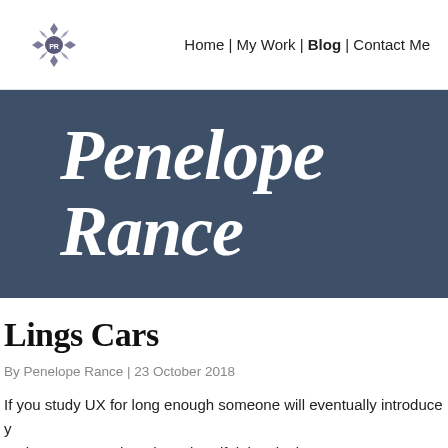Home | My Work | Blog | Contact Me
[Figure (logo): Stylized snowflake/star logo with letters PR in center, grey and white colors]
Penelope Rance
Lings Cars
By Penelope Rance | 23 October 2018
If you study UX for long enough someone will eventually introduce y and a comment about how dreadful the site is.